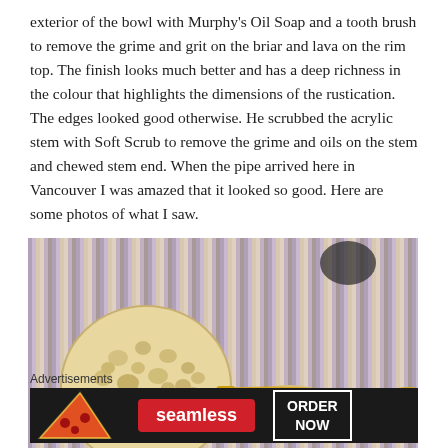exterior of the bowl with Murphy's Oil Soap and a tooth brush to remove the grime and grit on the briar and lava on the rim top. The finish looks much better and has a deep richness in the colour that highlights the dimensions of the rustication. The edges looked good otherwise. He scrubbed the acrylic stem with Soft Scrub to remove the grime and oils on the stem and chewed stem end. When the pipe arrived here in Vancouver I was amazed that it looked so good. Here are some photos of what I saw.
[Figure (photo): A rusticated briar pipe with a yellow/amber acrylic stem lying on a woven fabric background. The bowl is heavily textured with a light cream/tan rustication finish.]
Advertisements
[Figure (screenshot): Seamless food delivery advertisement banner with pizza image, Seamless brand name in red, and ORDER NOW button.]